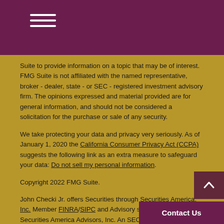Navigation menu (hamburger icon)
Suite to provide information on a topic that may be of interest. FMG Suite is not affiliated with the named representative, broker - dealer, state - or SEC - registered investment advisory firm. The opinions expressed and material provided are for general information, and should not be considered a solicitation for the purchase or sale of any security.
We take protecting your data and privacy very seriously. As of January 1, 2020 the California Consumer Privacy Act (CCPA) suggests the following link as an extra measure to safeguard your data: Do not sell my personal information.
Copyright 2022 FMG Suite.
John Checki Jr. offers Securities through Securities America, Inc. Member FINRA/SIPC and Advisory services through Securities America Advisors, Inc. An SEC Registered Investment Advisor. Checki Financial and Securities America are separate entities. Securities America and its representatives do not provide tax or legal advice.
This website is neither an offer to buy nor a solicitation to sell securities.
This site is published for residents of the United States and is for informational purposes only and does not constitute an offer to sell or a solicitation of an offer to buy any security or product that may be referenced h... oned on this website may only offer services and transact bus... to